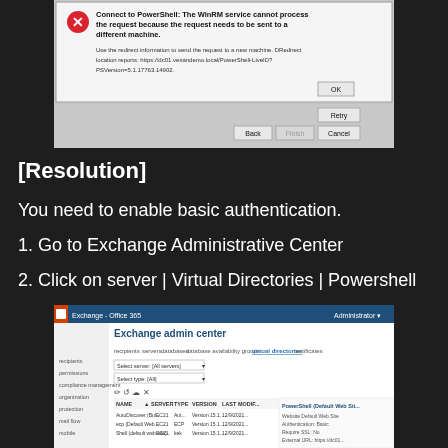[Figure (screenshot): Windows dialog showing 'Connect to PowerShell: The WinRM service cannot process the request because the request needs to be sent to a different machine.' with error icon, OK button, and Back/Finish/Cancel buttons plus Retry button]
[Resolution]
You need to enable basic authentication.
1. Go to Exchange Administrative Center
2. Click on server | Virtual Directories | Powershell
[Figure (screenshot): Exchange Admin Center screenshot showing the server virtual directories tab with PowerShell listed, Office 365 interface with Exchange admin center header, navigation menu and virtual directories table]